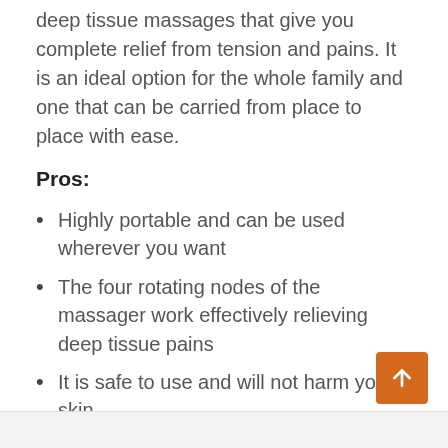deep tissue massages that give you complete relief from tension and pains. It is an ideal option for the whole family and one that can be carried from place to place with ease.
Pros:
Highly portable and can be used wherever you want
The four rotating nodes of the massager work effectively relieving deep tissue pains
It is safe to use and will not harm your skin
Cons:
The top is not very soft when lying on it